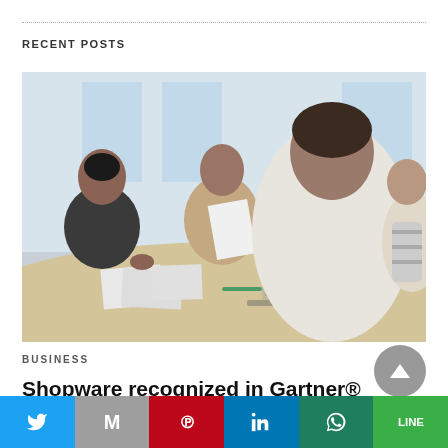RECENT POSTS
[Figure (photo): Business meeting: four professionals sitting around a table, one woman in a dark jacket gesturing, a man holding papers, another man with a laptop, and a woman on the right.]
BUSINESS
Shopware recognized in Gartner® Magic